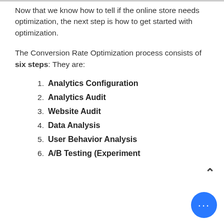Now that we know how to tell if the online store needs optimization, the next step is how to get started with optimization.
The Conversion Rate Optimization process consists of six steps: They are:
1. Analytics Configuration
2. Analytics Audit
3. Website Audit
4. Data Analysis
5. User Behavior Analysis
6. A/B Testing (Experiment